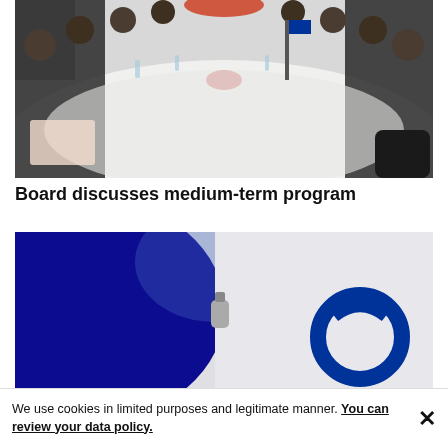[Figure (photo): A group of men in dark suits seated around a long white conference table in a formal meeting setting.]
Board discusses medium-term program
[Figure (photo): Close-up of a blue and white logo partially obscured, with a blurred blue shape in the foreground.]
We use cookies in limited purposes and legitimate manner. You can review your data policy.